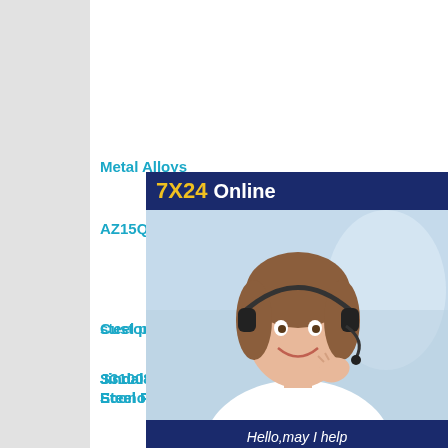Metal Alloys
AZ15Q195 professional steel sheet in China
Custom steel coil carbon tool
S31008 Stainless Steel Coil wit Economy
steel plate st50 steel plate price
[Figure (infographic): Chat support advertisement box with '7X24 Online' header in dark blue, photo of smiling woman with headset, 'Hello, may I help you?' text, and 'Get Latest Price' yellow button]
Jindal Mild Steel Pipes Price Li Steel Pipe Price
Rt-38CNC Hydraulic Pipe Bending Machine
chapa din 16mo3 products
PPCl Color Coated Aluminum